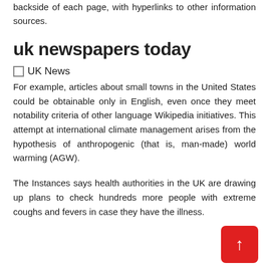backside of each page, with hyperlinks to other information sources.
uk newspapers today
UK News
For example, articles about small towns in the United States could be obtainable only in English, even once they meet notability criteria of other language Wikipedia initiatives. This attempt at international climate management arises from the hypothesis of anthropogenic (that is, man-made) world warming (AGW).
The Instances says health authorities in the UK are drawing up plans to check hundreds more people with extreme coughs and fevers in case they have the illness.